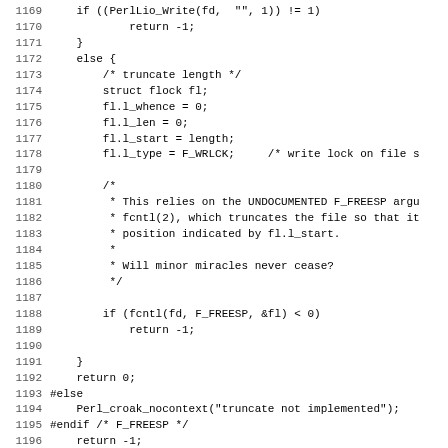Code listing lines 1169-1201: C source code showing file truncation implementation using F_FREESP/fcntl, with #else fallback using Perl_croak_nocontext, and bool/Perl_do_print function signatures.